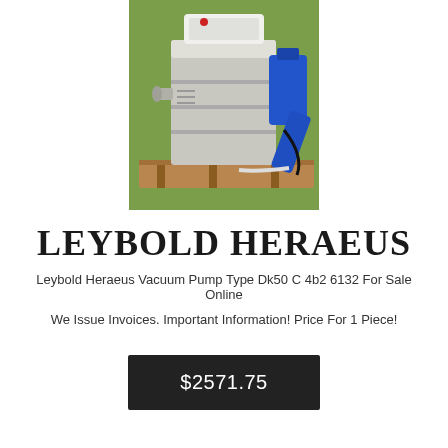[Figure (photo): Photograph of a Leybold Heraeus vacuum pump (grey/white metal unit with blue motor/handle attachment) sitting on a wooden pallet outdoors on grass.]
LEYBOLD HERAEUS
Leybold Heraeus Vacuum Pump Type Dk50 C 4b2 6132 For Sale Online
We Issue Invoices. Important Information! Price For 1 Piece!
$2571.75